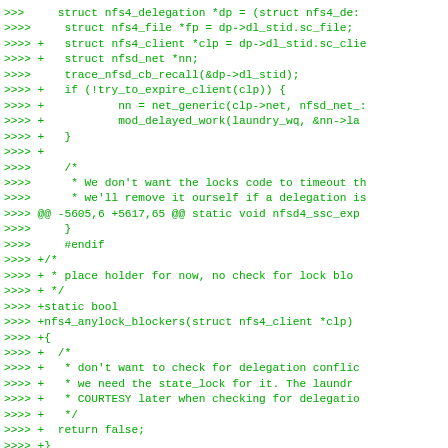>>>>     struct nfs4_delegation *dp = (struct nfs4_de:
>>>>     struct nfs4_file *fp = dp->dl_stid.sc_file;
>>>> +   struct nfs4_client *clp = dp->dl_stid.sc_clie
>>>> +   struct nfsd_net *nn;
>>>>     trace_nfsd_cb_recall(&dp->dl_stid);
>>>> +   if (!try_to_expire_client(clp)) {
>>>> +           nn = net_generic(clp->net, nfsd_net_:
>>>> +           mod_delayed_work(laundry_wq, &nn->la
>>>> +   }
>>>> +
>>>>     /*
>>>>      * We don't want the locks code to timeout th
>>>>      * we'll remove it ourself if a delegation is
>>>> @@ -5605,6 +5617,65 @@ static void nfsd4_ssc_exp
>>>>     }
>>>>     #endif
>>>> +/*
>>>> + * place holder for now, no check for lock blo
>>>> + */
>>>> +static bool
>>>> +nfs4_anylock_blockers(struct nfs4_client *clp)
>>>> +{
>>>> +  /*
>>>> +   * don't want to check for delegation conflic
>>>> +   * we need the state_lock for it. The laundr
>>>> +   * COURTESY later when checking for delegatio
>>>> +   */
>>>> +  return false;
>>>> +}
>>>> +
>>>> +static bool client_has_state_tmp(struct nfs4_c:
>>>> +{